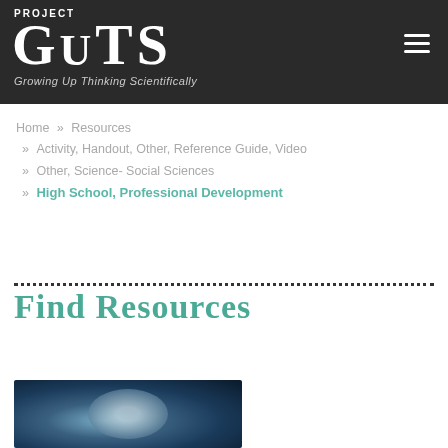PROJECT GUTS — Growing Up Thinking Scientifically
Home » Resources » Activity, Handout, Other, Reference Guide, Video » Other, Science- Social Sciences » High School, Professional Development
Find Resources
[Figure (photo): Thumbnail image with blue tones showing an indistinct figure or scene, likely related to a resource preview.]